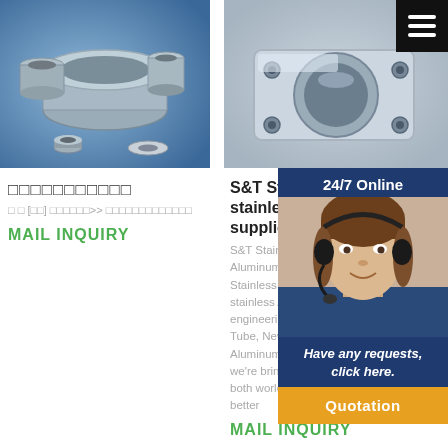[Figure (photo): Various aluminum/stainless steel cylindrical tubes and rings on blue background]
[Figure (photo): Machined aluminum or stainless steel mechanical part, precision engineered component]
□□□□□□□□□□□
□ □ [□□] □□□□□□>> □□□□□□□□□□□□□
MAIL INQUIRY
S&T Stainless stainless Alu suppliers - S&
S&T Stainless – Aluminum Supp Stainless is a su stainless Alum engineering Alum Tube, New Zeala Aluminum distri we're bringing yo both worlds. We better
MAIL INQUIRY
[Figure (photo): Customer service agent (woman with headset) with 24/7 Online chat overlay panel, Have any requests click here, and Quotation button]